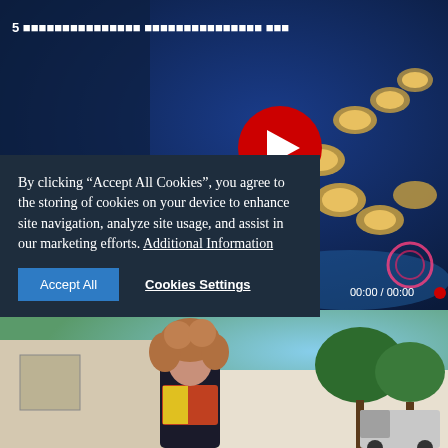[Figure (screenshot): Aerial night-time view of illuminated igloo/dome accommodations arranged in a row, snow and trees visible, blue-toned lighting, with a red YouTube play button overlay and video timer '00:00 / 00:00'. Title text '5 [non-Latin characters]' overlaid at top left.]
By clicking "Accept All Cookies", you agree to the storing of cookies on your device to enhance site navigation, analyze site usage, and assist in our marketing efforts. Additional Information
Accept All   Cookies Settings
[Figure (photo): Photo of a woman with curly hair standing outdoors in front of a building, with trees and vehicles visible in background.]